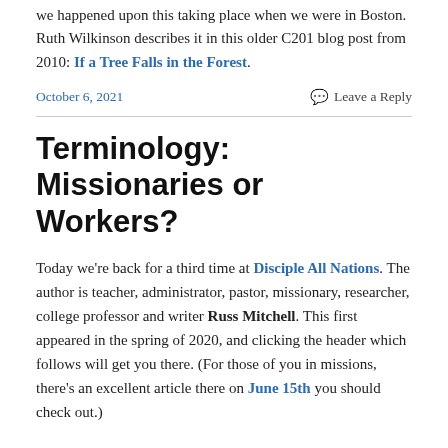we happened upon this taking place when we were in Boston. Ruth Wilkinson describes it in this older C201 blog post from 2010: If a Tree Falls in the Forest.
October 6, 2021    Leave a Reply
Terminology: Missionaries or Workers?
Today we're back for a third time at Disciple All Nations. The author is teacher, administrator, pastor, missionary, researcher, college professor and writer Russ Mitchell. This first appeared in the spring of 2020, and clicking the header which follows will get you there. (For those of you in missions, there's an excellent article there on June 15th you should check out.)